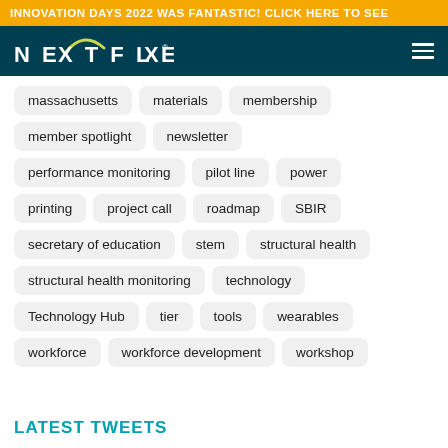INNOVATION DAYS 2022 WAS FANTASTIC! CLICK HERE TO SEE
[Figure (logo): NEXTFLEX logo with teal arc above the X, on dark teal background, with hamburger menu icon on right]
massachusetts
materials
membership
member spotlight
newsletter
performance monitoring
pilot line
power
printing
project call
roadmap
SBIR
secretary of education
stem
structural health
structural health monitoring
technology
Technology Hub
tier
tools
wearables
workforce
workforce development
workshop
LATEST TWEETS